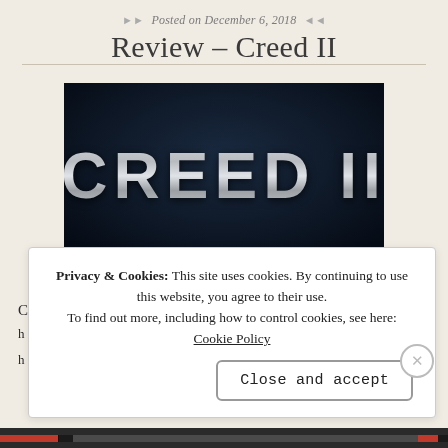Posted on December 6, 2018
Review – Creed II
[Figure (photo): Movie title card for Creed II — large silver metallic block letters spelling CREED II on a dark navy/black background]
Privacy & Cookies: This site uses cookies. By continuing to use this website, you agree to their use. To find out more, including how to control cookies, see here: Cookie Policy
Close and accept